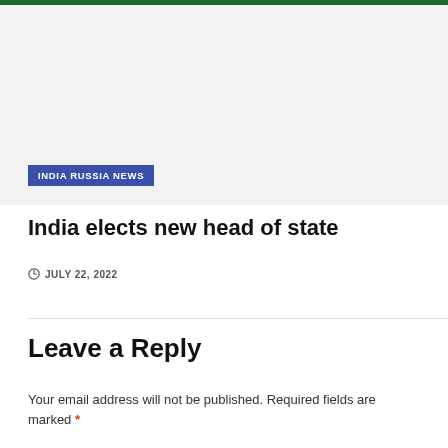[Figure (photo): Gray placeholder image area for a news article]
INDIA RUSSIA NEWS
India elects new head of state
JULY 22, 2022
Leave a Reply
Your email address will not be published. Required fields are marked *